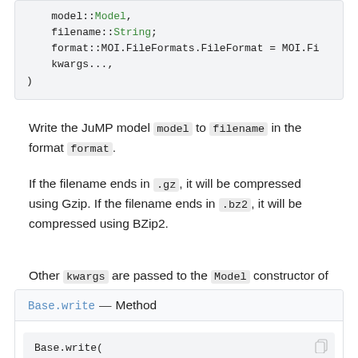[Figure (screenshot): Code block showing model::Model, filename::String, format::MOI.FileFormats.FileFormat = MOI.Fi, kwargs..., )]
Write the JuMP model model to filename in the format format.
If the filename ends in .gz, it will be compressed using Gzip. If the filename ends in .bz2, it will be compressed using BZip2.
Other kwargs are passed to the Model constructor of the chosen format.
Base.write — Method
[Figure (screenshot): Code block showing Base.write( io::IO,]